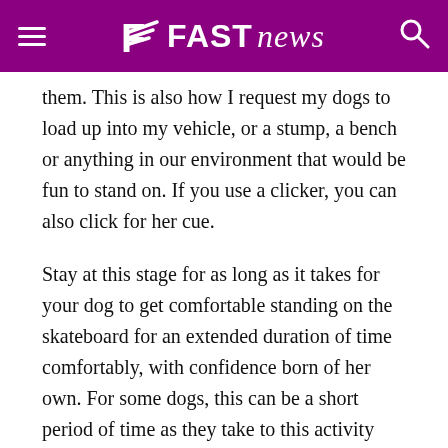FAST news
them. This is also how I request my dogs to load up into my vehicle, or a stump, a bench or anything in our environment that would be fun to stand on. If you use a clicker, you can also click for her cue.
Stay at this stage for as long as it takes for your dog to get comfortable standing on the skateboard for an extended duration of time comfortably, with confidence born of her own. For some dogs, this can be a short period of time as they take to this activity more naturally then another dog possibly would. If we pressure them into being on the skateboard when we introduce movement too quickly, the individual dog may never be as comfortable being on the skateboard, which is why we tighten up the